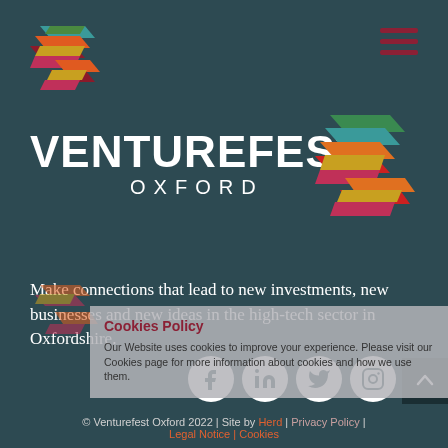[Figure (logo): Venturefest Oxford chevron/arrow logo top left, colorful geometric design with orange, teal, pink, yellow colors]
[Figure (logo): Hamburger menu icon top right, three dark red horizontal bars]
VENTUREFEST OXFORD
[Figure (logo): Large Venturefest Oxford chevron/arrow logo to the right of the title text, colorful with orange, teal, green, red, yellow]
Make connections that lead to new investments, new businesses and new ideas in the high-tech sector in Oxfordshire.
[Figure (logo): Small Venturefest Oxford logo bottom left, partially visible, orange and pink colors]
[Figure (infographic): Four white circle social media icons: Facebook, LinkedIn, Twitter, Instagram]
Cookies Policy
Our Website uses cookies to improve your experience. Please visit our Cookies page for more information about cookies and how we use them.
© Venturefest Oxford 2022 | Site by Herd | Privacy Policy | Legal Notice | Cookies